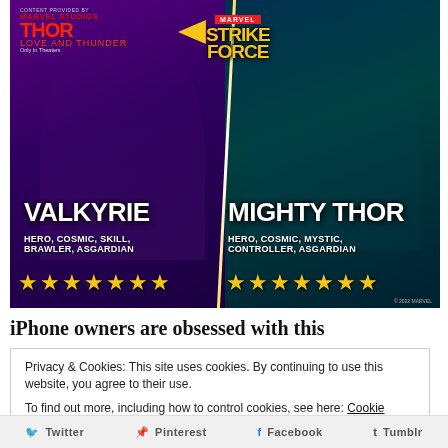[Figure (illustration): Marvel Strike Force promotional image featuring Valkyrie (left, with blue sword, purple background, tagged HERO, COSMIC, SKILL, BRAWLER, ASGARDIAN, 7 gold stars) and Mighty Thor (right, with hammer and lightning, teal background, tagged HERO, COSMIC, MYSTIC, CONTROLLER, ASGARDIAN, 7 gold stars). Thor: Love and Thunder contest logo top-left, Marvel Strike Force logo top-center.]
iPhone owners are obsessed with this
Privacy & Cookies: This site uses cookies. By continuing to use this website, you agree to their use.
To find out more, including how to control cookies, see here: Cookie Policy
Close and accept
Twitter  Pinterest  Facebook  Tumblr